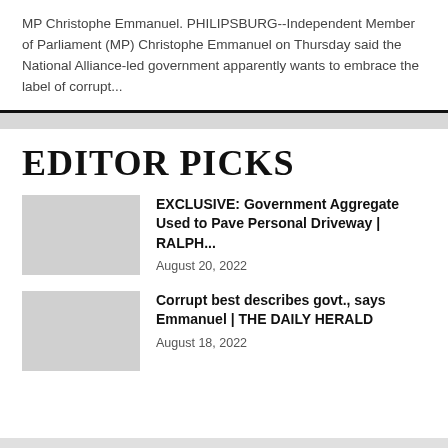MP Christophe Emmanuel. PHILIPSBURG--Independent Member of Parliament (MP) Christophe Emmanuel on Thursday said the National Alliance-led government apparently wants to embrace the label of corrupt...
EDITOR PICKS
EXCLUSIVE: Government Aggregate Used to Pave Personal Driveway | RALPH...
August 20, 2022
Corrupt best describes govt., says Emmanuel | THE DAILY HERALD
August 18, 2022